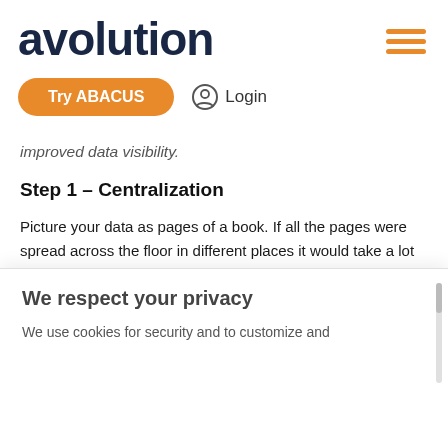avolution
improved data visibility.
Step 1 – Centralization
Picture your data as pages of a book. If all the pages were spread across the floor in different places it would take a lot more time and effort to understand the full story. Data is no different. If all our data is spread across multiple applications it is going to take much longer to find what we're looking for, with the added fear of missing key data at critical moments.
Centralizing data information, dataflows and processes into a single source of truth is the first step towards successful data
We respect your privacy
We use cookies for security and to customize and